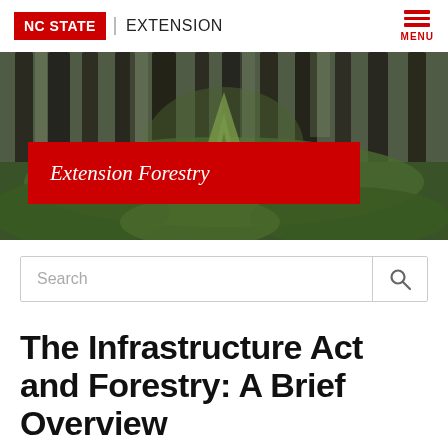NC STATE EXTENSION
[Figure (photo): Forest photo with tall conifer trees and green undergrowth, with a red banner overlay reading 'Extension Forestry']
Extension Forestry
The Infrastructure Act and Forestry: A Brief Overview
Written By Brian Barzioli